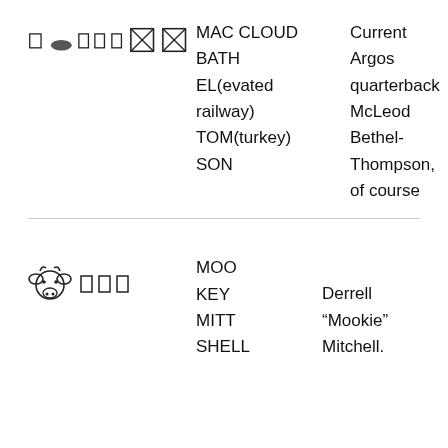[Figure (illustration): Row of symbols: small square, hill/mound shape, three small squares, two larger squares with diagonal lines (N-like), followed by clue text MAC CLOUD BATH EL(evated railway) TOM(turkey) SON and answer text 'Current Argos quarterback McLeod Bethel-Thompson, of course']
MAC CLOUD
BATH
EL(evated railway)
TOM(turkey)
SON
Current Argos quarterback McLeod Bethel-Thompson, of course
[Figure (illustration): Row of symbols: cow head emoji, three small squares, followed by clue text MOO KEY MITT SHELL and answer text 'Derrell "Mookie" Mitchell.']
MOO
KEY
MITT
SHELL
Derrell "Mookie" Mitchell.